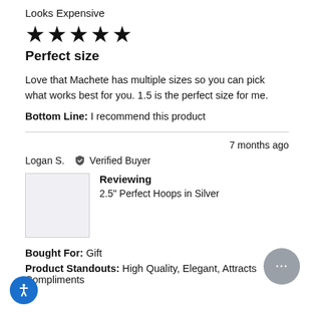Looks Expensive
[Figure (other): Five filled black stars rating]
Perfect size
Love that Machete has multiple sizes so you can pick what works best for you. 1.5 is the perfect size for me.
Bottom Line: I recommend this product
7 months ago
Logan S.  ✔ Verified Buyer
Reviewing
2.5" Perfect Hoops in Silver
Bought For: Gift
Product Standouts: High Quality, Elegant, Attracts Compliments